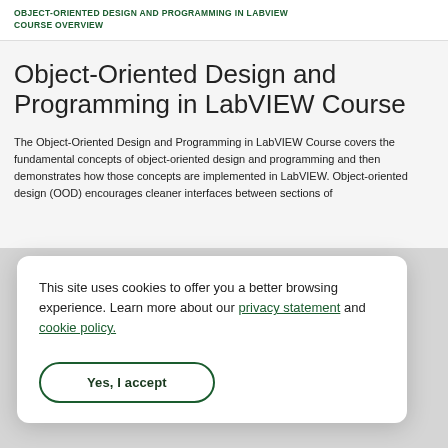OBJECT-ORIENTED DESIGN AND PROGRAMMING IN LABVIEW COURSE OVERVIEW
Object-Oriented Design and Programming in LabVIEW Course
The Object-Oriented Design and Programming in LabVIEW Course covers the fundamental concepts of object-oriented design and programming and then demonstrates how those concepts are implemented in LabVIEW. Object-oriented design (OOD) encourages cleaner interfaces between sections of
This site uses cookies to offer you a better browsing experience. Learn more about our privacy statement and cookie policy.

Yes, I accept